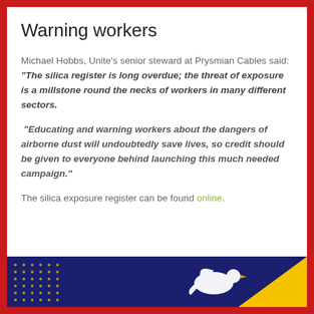Warning workers
Michael Hobbs, Unite's senior steward at Prysmian Cables said: “The silica register is long overdue; the threat of exposure is a millstone round the necks of workers in many different sectors.
“Educating and warning workers about the dangers of airborne dust will undoubtedly save lives, so credit should be given to everyone behind launching this much needed campaign.”
The silica exposure register can be found online.
[Figure (illustration): Dark navy blue banner at bottom of page with gold dots pattern on the left and a yellow triangle on the right, with a white dove or bird figure in center-right area.]